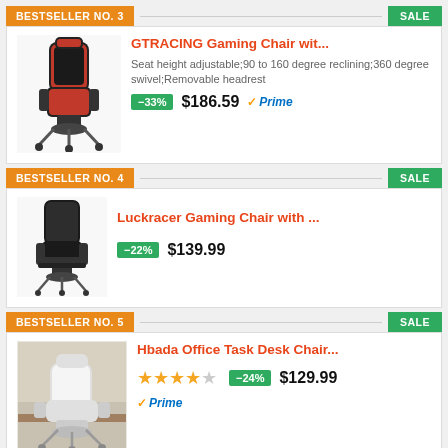BESTSELLER NO. 3
SALE
[Figure (photo): GTRACING gaming chair - black and red color]
GTRACING Gaming Chair wit...
Seat height adjustable;90 to 160 degree reclining;360 degree swivel;Removable headrest
-33% $186.59 Prime
BESTSELLER NO. 4
SALE
[Figure (photo): Luckracer gaming chair - black color]
Luckracer Gaming Chair with ...
-22% $139.99
BESTSELLER NO. 5
SALE
[Figure (photo): Hbada office task desk chair - white color in office setting]
Hbada Office Task Desk Chair...
4 stars (out of 5) -24% $129.99 Prime
BESTSELLER NO. 6
SALE